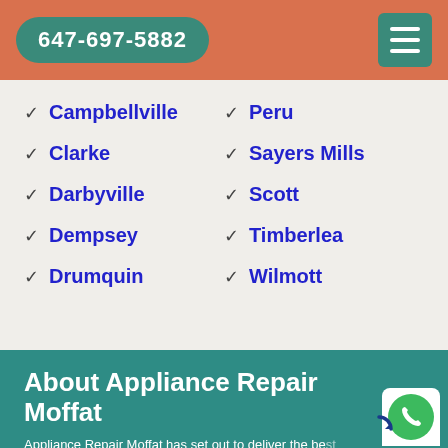647-697-5882
Campbellville
Peru
Clarke
Sayers Mills
Darbyville
Scott
Dempsey
Timberlea
Drumquin
Wilmott
About Appliance Repair Moffat
Appliance Repair Moffat has set out to deliver the best